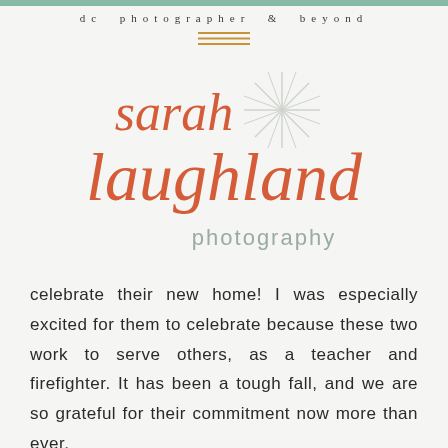DC photographer & beyond
[Figure (logo): Sarah Laughland Photography logo with cursive script text 'sarah laughland' in orange/coral color and 'photography' in gray, with a decorative starburst graphic]
celebrate their new home! I was especially excited for them to celebrate because these two work to serve others, as a teacher and firefighter. It has been a tough fall, and we are so grateful for their commitment now more than ever.